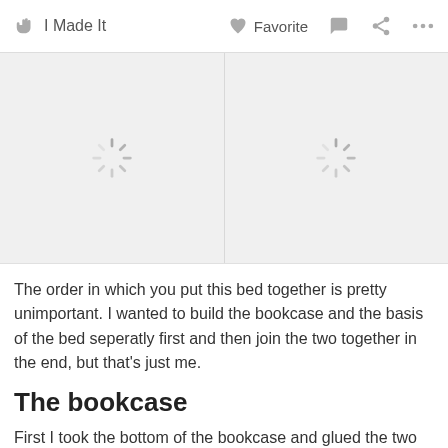I Made It   Favorite
[Figure (photo): Two loading spinner icons shown in gray placeholder image boxes side by side]
The order in which you put this bed together is pretty unimportant. I wanted to build the bookcase and the basis of the bed seperatly first and then join the two together in the end, but that’s just me.
The bookcase
First I took the bottom of the bookcase and glued the two dowels in place that will fungate as the pivot